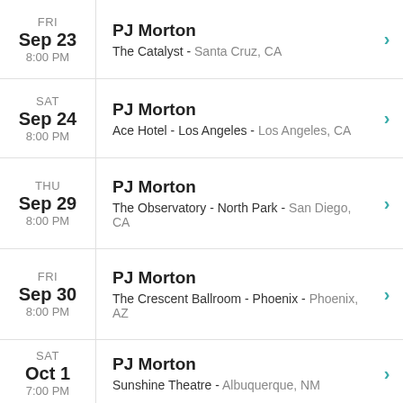FRI Sep 23 8:00 PM | PJ Morton | The Catalyst - Santa Cruz, CA
SAT Sep 24 8:00 PM | PJ Morton | Ace Hotel - Los Angeles - Los Angeles, CA
THU Sep 29 8:00 PM | PJ Morton | The Observatory - North Park - San Diego, CA
FRI Sep 30 8:00 PM | PJ Morton | The Crescent Ballroom - Phoenix - Phoenix, AZ
SAT Oct 1 7:00 PM | PJ Morton | Sunshine Theatre - Albuquerque, NM